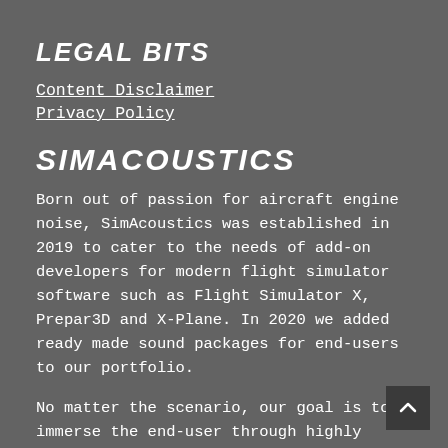LEGAL BITS
Content Disclaimer
Privacy Policy
SIMACOUSTICS
Born out of passion for aircraft engine noise, SimAcoustics was established in 2019 to cater to the needs of add-on developers for modern flight simulator software such as Flight Simulator X, Prepar3D and X-Plane. In 2020 we added ready made sound packages for end-users to our portfolio.
No matter the scenario, our goal is to immerse the end-user through highly authentic sound environments that push the limits of the